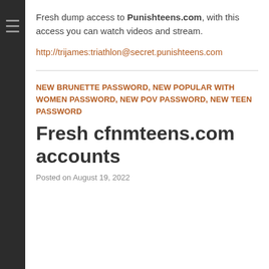Fresh dump access to Punishteens.com, with this access you can watch videos and stream.
http://trijames:triathlon@secret.punishteens.com
NEW BRUNETTE PASSWORD, NEW POPULAR WITH WOMEN PASSWORD, NEW POV PASSWORD, NEW TEEN PASSWORD
Fresh cfnmteens.com accounts
Posted on August 19, 2022